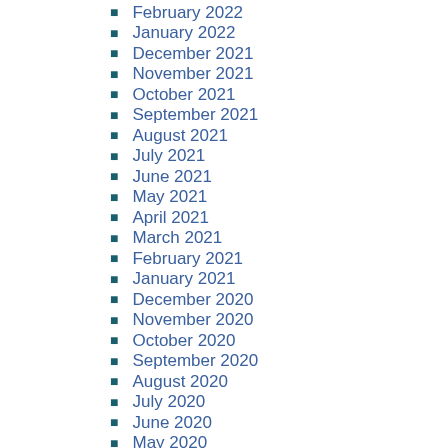February 2022
January 2022
December 2021
November 2021
October 2021
September 2021
August 2021
July 2021
June 2021
May 2021
April 2021
March 2021
February 2021
January 2021
December 2020
November 2020
October 2020
September 2020
August 2020
July 2020
June 2020
May 2020